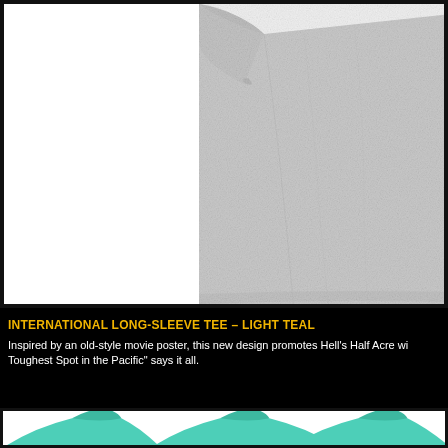[Figure (photo): Close-up photo of a gray heather short-sleeve t-shirt on a white background, showing the right sleeve and body of the shirt.]
INTERNATIONAL LONG-SLEEVE TEE – LIGHT TEAL
Inspired by an old-style movie poster, this new design promotes Hell's Half Acre wi... Toughest Spot in the Pacific" says it all.
[Figure (photo): Partial view of a light teal long-sleeve t-shirt at the bottom of the page.]